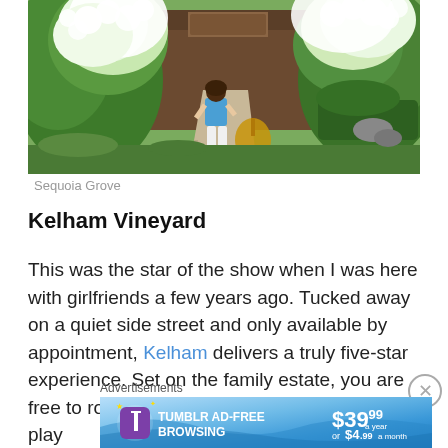[Figure (photo): Woman in blue top and white pants walking through a garden path with large white flowering bushes toward a rustic wooden building entrance]
Sequoia Grove
Kelham Vineyard
This was the star of the show when I was here with girlfriends a few years ago. Tucked away on a quiet side street and only available by appointment, Kelham delivers a truly five-star experience. Set on the family estate, you are free to roam around by the reflecting pool and play
Advertisements
[Figure (screenshot): Tumblr Ad-Free Browsing advertisement banner showing $39.99 a year or $4.99 a month pricing with purple Tumblr logo]